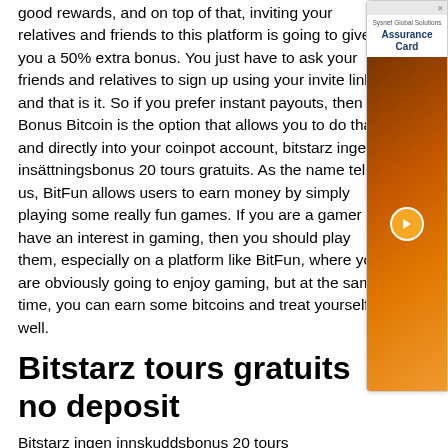good rewards, and on top of that, inviting your relatives and friends to this platform is going to give you a 50% extra bonus. You just have to ask your friends and relatives to sign up using your invite link, and that is it. So if you prefer instant payouts, then Bonus Bitcoin is the option that allows you to do that and directly into your coinpot account, bitstarz ingen insättningsbonus 20 tours gratuits. As the name tells us, BitFun allows users to earn money by simply playing some really fun games. If you are a gamer or have an interest in gaming, then you should play them, especially on a platform like BitFun, where you are obviously going to enjoy gaming, but at the same time, you can earn some bitcoins and treat yourself as well.
Bitstarz tours gratuits no deposit
Bitstarz ingen innskuddsbonus 20 tours
[Figure (other): Advertisement card for Sysnet Global Solutions Assurance Card with orange graphic and arrow button]